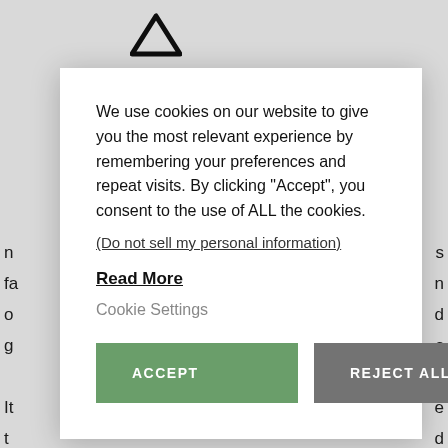[Figure (logo): Caret/chevron logo mark in black at top of page]
n
fa
o
g
s
n
d
s
a
e
d
We use cookies on our website to give you the most relevant experience by remembering your preferences and repeat visits. By clicking “Accept”, you consent to the use of ALL the cookies.
(Do not sell my personal information)
Read More
Cookie Settings
ACCEPT
REJECT ALL
FOUNDER | TEAM | RESEARCH